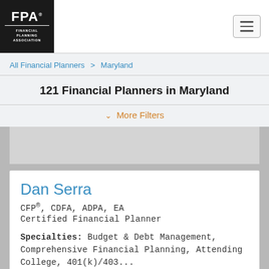FPA Financial Planning Association
All Financial Planners > Maryland
121 Financial Planners in Maryland
More Filters
Dan Serra
CFP®, CDFA, ADPA, EA
Certified Financial Planner
Specialties: Budget & Debt Management, Comprehensive Financial Planning, Attending College, 401(k)/403...
+ More